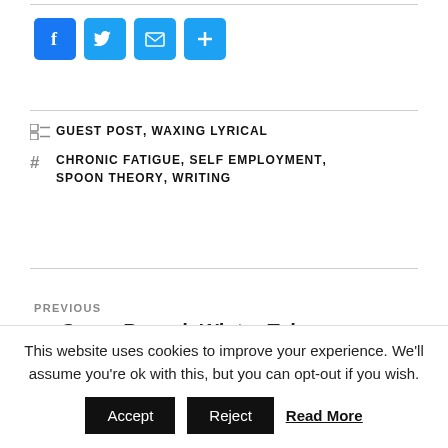[Figure (other): Social sharing icons: Facebook, Twitter, Email, and Add/More buttons in blue squares]
GUEST POST, WAXING LYRICAL
CHRONIC FATIGUE, SELF EMPLOYMENT, SPOON THEORY, WRITING
PREVIOUS
← Cover Reveal: Winter Tales
This website uses cookies to improve your experience. We'll assume you're ok with this, but you can opt-out if you wish.
Accept   Reject   Read More